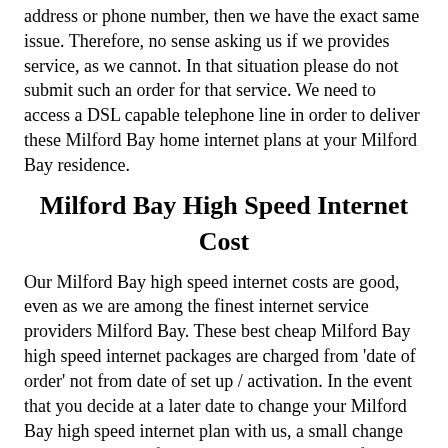address or phone number, then we have the exact same issue. Therefore, no sense asking us if we provides service, as we cannot. In that situation please do not submit such an order for that service. We need to access a DSL capable telephone line in order to deliver these Milford Bay home internet plans at your Milford Bay residence.
Milford Bay High Speed Internet Cost
Our Milford Bay high speed internet costs are good, even as we are among the finest internet service providers Milford Bay. These best cheap Milford Bay high speed internet packages are charged from 'date of order' not from date of set up / activation. In the event that you decide at a later date to change your Milford Bay high speed internet plan with us, a small change cost applies, therefore please pick the best Milford Bay broadband internet package for the needs you have. You're going to be invoiced by email, credit cards are not billed automatically except if the customer has a PayPal Automatic Payment agreement (subscription) in Milford Bay, therefore you must pay the Invoice online using the payment gateway provided. WRS Web Solutions Inc. accepts credit cards & PayPal accounts & Interac e-Transfer. A day or two after we accept your order we will contact you with your modem postage particulars, and later the